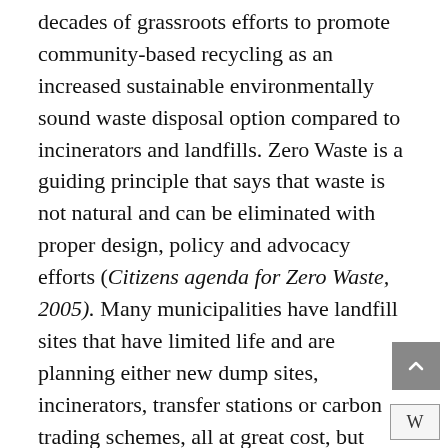decades of grassroots efforts to promote community-based recycling as an increased sustainable environmentally sound waste disposal option compared to incinerators and landfills. Zero Waste is a guiding principle that says that waste is not natural and can be eliminated with proper design, policy and advocacy efforts (Citizens agenda for Zero Waste, 2005). Many municipalities have landfill sites that have limited life and are planning either new dump sites, incinerators, transfer stations or carbon trading schemes, all at great cost, but none will achieve the 2001 Polokwane declaration waste reduction goal off “Zero Waste” by 2022.